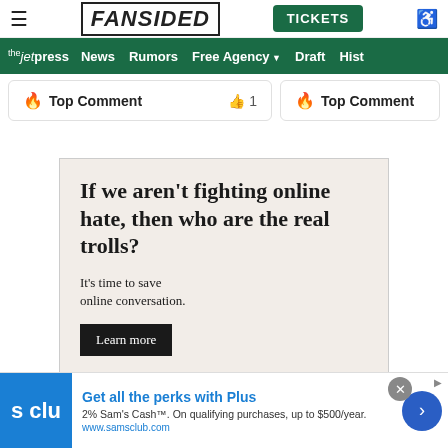FanSided — TICKETS — Navigation: the jet press | News | Rumors | Free Agency | Draft | Hist
🔥 Top Comment  👍 1
🔥 Top Comment
[Figure (infographic): Advertisement: 'If we aren't fighting online hate, then who are the real trolls? It's time to save online conversation. Learn more']
Get all the perks with Plus. 2% Sam's Cash™. On qualifying purchases, up to $500/year. www.samsclub.com